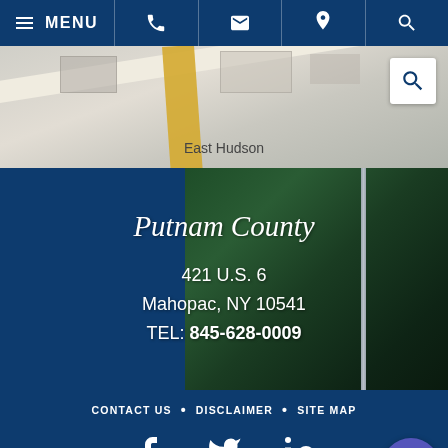MENU [phone] [email] [location] [search]
[Figure (map): Google Maps screenshot showing East Hudson area with road and aerial view]
Putnam County
421 U.S. 6
Mahopac, NY 10541
TEL: 845-628-0009
CONTACT US • DISCLAIMER • SITE MAP
[Figure (infographic): Social media icons: Facebook, Twitter, LinkedIn]
FOLLOW US ON